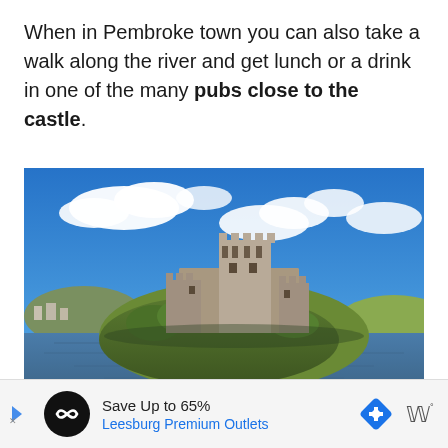When in Pembroke town you can also take a walk along the river and get lunch or a drink in one of the many pubs close to the castle.
[Figure (photo): Pembroke Castle on a rocky hill surrounded by water, with green trees, stone towers and walls, under a blue sky with white clouds]
Save Up to 65% Leesburg Premium Outlets